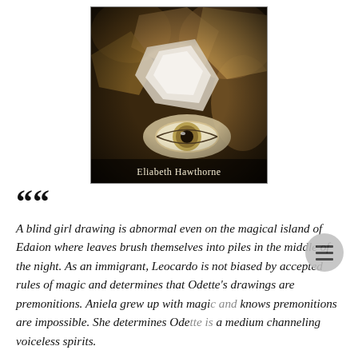[Figure (illustration): Book cover image by Eliabeth Hawthorne showing crumpled paper and an eye illustration on a dark background, with the author name 'Eliabeth Hawthorne' at the bottom]
““ A blind girl drawing is abnormal even on the magical island of Edaion where leaves brush themselves into piles in the middle of the night. As an immigrant, Leocardo is not biased by accepted rules of magic and determines that Odette's drawings are premonitions. Aniela grew up with magic and knows premonitions are impossible. She determines Odette is a medium channeling voiceless spirits.
In this volume: While Aniela tries to escape a lifestyle where